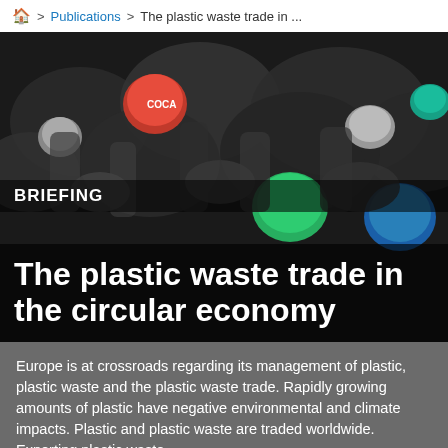🏠 > Publications > The plastic waste trade in ...
[Figure (photo): Overhead photo of many plastic bottles and containers of various colors (red, green, blue, white) piled together.]
BRIEFING
The plastic waste trade in the circular economy
Europe is at crossroads regarding its management of plastic, plastic waste and the plastic waste trade. Rapidly growing amounts of plastic have negative environmental and climate impacts. Plastic and plastic waste are traded worldwide. Exporting plastic waste